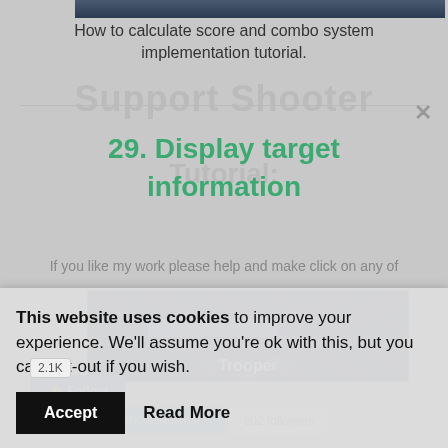[Figure (screenshot): Top strip of a dark sci-fi game screenshot]
How to calculate score and combo system implementation tutorial.
Support Shooter
29. Display target information
Tutorial:
If you like my work please help and make click on any of these buttons!
[Figure (screenshot): Game screenshot showing a 'Trooper' with a blue health/progress bar on a dark sci-fi background]
This website uses cookies to improve your experience. We'll assume you're ok with this, but you can opt-out if you wish.
Accept
Read More